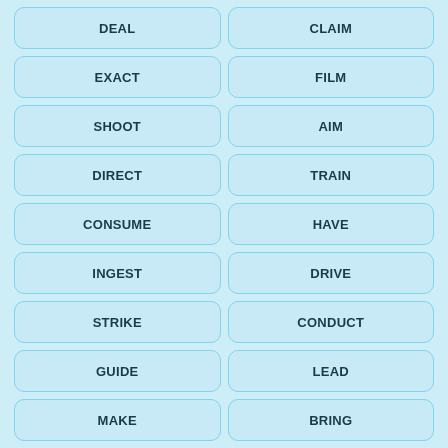DEAL
CLAIM
EXACT
FILM
SHOOT
AIM
DIRECT
TRAIN
CONSUME
HAVE
INGEST
DRIVE
STRIKE
CONDUCT
GUIDE
LEAD
MAKE
BRING